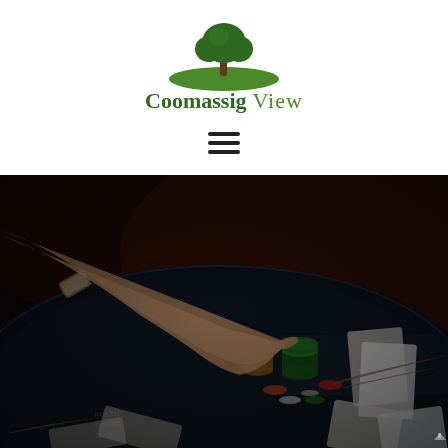[Figure (logo): Coomassig View logo with green tree and swoosh graphic above the text]
[Figure (photo): Dark-toned overhead photo of people playing cards at a casino poker table with poker chips scattered on a dark felt table surface]